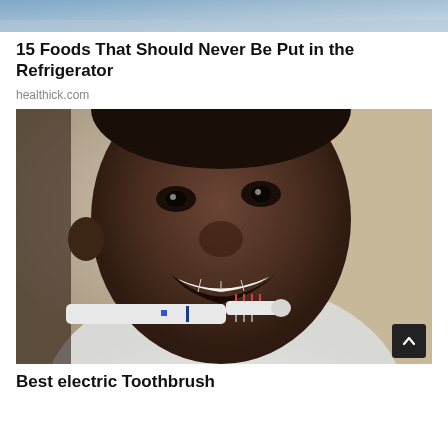[Figure (photo): Partial top image cropped at top of page, showing a blurred outdoor or food scene with blue/grey tones]
15 Foods That Should Never Be Put in the Refrigerator
healthick.com
[Figure (photo): Close-up photo of a smiling Black man brushing his teeth with a white electric toothbrush, wearing a white shirt, with a beige/blurred background]
Best electric Toothbrush